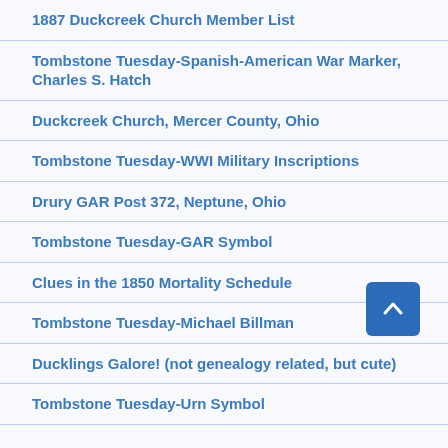1887 Duckcreek Church Member List
Tombstone Tuesday-Spanish-American War Marker, Charles S. Hatch
Duckcreek Church, Mercer County, Ohio
Tombstone Tuesday-WWI Military Inscriptions
Drury GAR Post 372, Neptune, Ohio
Tombstone Tuesday-GAR Symbol
Clues in the 1850 Mortality Schedule
Tombstone Tuesday-Michael Billman
Ducklings Galore! (not genealogy related, but cute)
Tombstone Tuesday-Urn Symbol